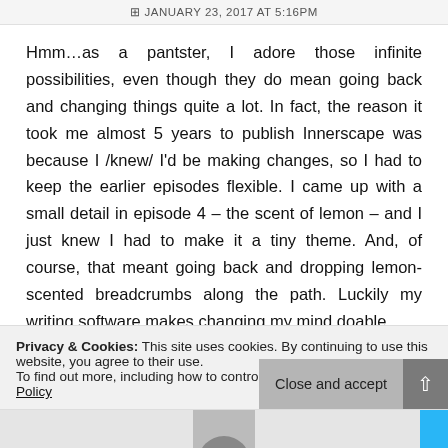JANUARY 23, 2017 AT 5:16PM
Hmm…as a pantster, I adore those infinite possibilities, even though they do mean going back and changing things quite a lot. In fact, the reason it took me almost 5 years to publish Innerscape was because I /knew/ I'd be making changes, so I had to keep the earlier episodes flexible. I came up with a small detail in episode 4 – the scent of lemon – and I just knew I had to make it a tiny theme. And, of course, that meant going back and dropping lemon-scented breadcrumbs along the path. Luckily my writing software makes changing my mind doable.
Privacy & Cookies: This site uses cookies. By continuing to use this website, you agree to their use.
To find out more, including how to control cookies, see here: Cookie Policy
Close and accept